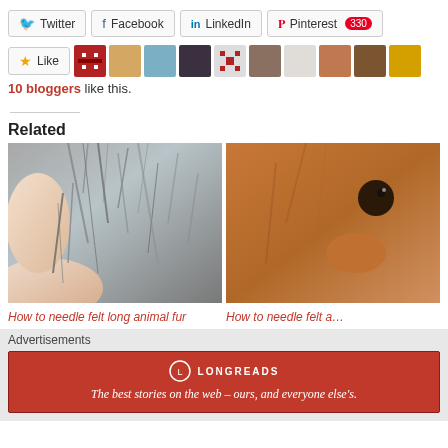[Figure (screenshot): Social share buttons: Twitter, Facebook, LinkedIn, Pinterest (330)]
[Figure (screenshot): Like button with 10 blogger avatars]
10 bloggers like this.
Related
[Figure (photo): Close-up photo of fingers holding grey animal fur]
How to needle felt long animal fur
[Figure (photo): Close-up photo of a squirrel or similar animal]
How to needle felt a...
Advertisements
[Figure (infographic): Longreads advertisement banner: The best stories on the web – ours, and everyone else's.]